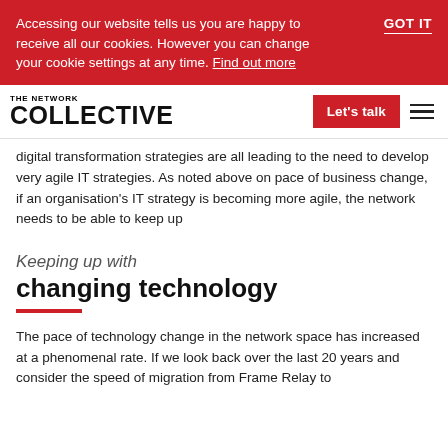Accessing our website tells us you are happy to receive all our cookies. However you can change your cookie settings at any time. Find out more | GOT IT
THE NETWORK COLLECTIVE | Let's talk
digital transformation strategies are all leading to the need to develop very agile IT strategies. As noted above on pace of business change, if an organisation's IT strategy is becoming more agile, the network needs to be able to keep up
Keeping up with
changing technology
The pace of technology change in the network space has increased at a phenomenal rate. If we look back over the last 20 years and consider the speed of migration from Frame Relay to